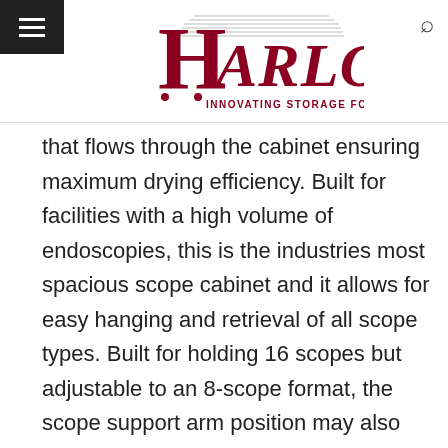[Figure (logo): Harloff logo — large stylized red H with horizontal lines, text HARLOFF INNOVATING STORAGE FOR CARE in dark red]
that flows through the cabinet ensuring maximum drying efficiency. Built for facilities with a high volume of endoscopies, this is the industries most spacious scope cabinet and it allows for easy hanging and retrieval of all scope types. Built for holding 16 scopes but adjustable to an 8-scope format, the scope support arm position may also be adjusted to upper or lower mounting positions depending on preference and scope length. Other features include easy access